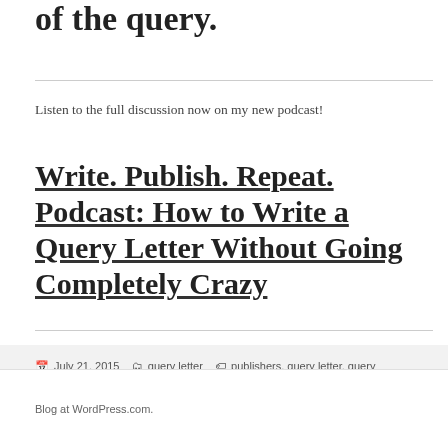of the query.
Listen to the full discussion now on my new podcast!
Write. Publish. Repeat. Podcast: How to Write a Query Letter Without Going Completely Crazy
July 21, 2015  query letter  publishers, query letter, query writing, query, agents, write a query letter  Leave a comment
Blog at WordPress.com.